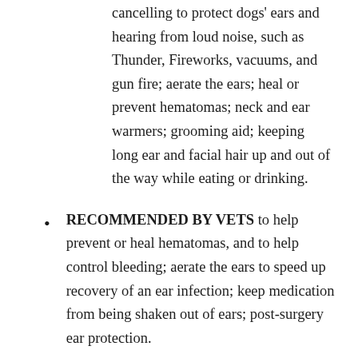cancelling to protect dogs' ears and hearing from loud noise, such as Thunder, Fireworks, vacuums, and gun fire; aerate the ears; heal or prevent hematomas; neck and ear warmers; grooming aid; keeping long ear and facial hair up and out of the way while eating or drinking.
RECOMMENDED BY VETS to help prevent or heal hematomas, and to help control bleeding; aerate the ears to speed up recovery of an ear infection; keep medication from being shaken out of ears; post-surgery ear protection.
A NATURAL, HOMEOPATHIC DOG CALMING REMEDY SINCE 2008, its swaddling effect will soothe and comfort pets. When worn together, Happy Hoodie can increase and complement the efficiency of dog